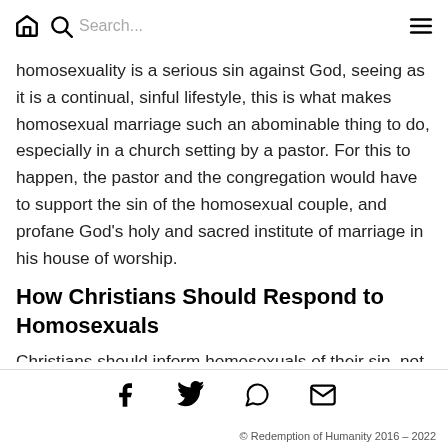🏠 🔍 Search... ≡
homosexuality is a serious sin against God, seeing as it is a continual, sinful lifestyle, this is what makes homosexual marriage such an abominable thing to do, especially in a church setting by a pastor. For this to happen, the pastor and the congregation would have to support the sin of the homosexual couple, and profane God's holy and sacred institute of marriage in his house of worship.
How Christians Should Respond to Homosexuals
Christians should inform homosexuals of their sin, not out of judgementalism, but out of love. We should do this for anyone committing any other sin, too. It is
© Redemption of Humanity 2016 – 2022